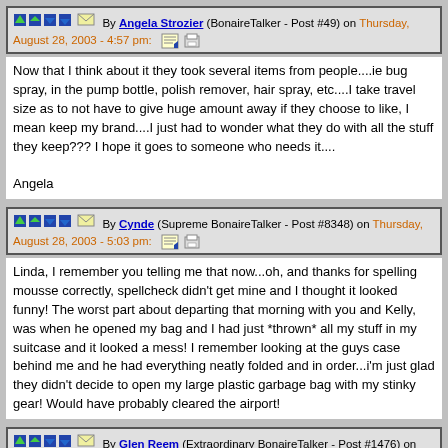By Angela Strozier (BonaireTalker - Post #49) on Thursday, August 28, 2003 - 4:57 pm:
Now that I think about it they took several items from people....ie bug spray, in the pump bottle, polish remover, hair spray, etc....I take travel size as to not have to give huge amount away if they choose to like, I mean keep my brand....I just had to wonder what they do with all the stuff they keep??? I hope it goes to someone who needs it....

Angela
By Cynde (Supreme BonaireTalker - Post #8348) on Thursday, August 28, 2003 - 5:03 pm:
Linda, I remember you telling me that now...oh, and thanks for spelling mousse correctly, spellcheck didn't get mine and I thought it looked funny! The worst part about departing that morning with you and Kelly, was when he opened my bag and I had just *thrown* all my stuff in my suitcase and it looked a mess! I remember looking at the guys case behind me and he had everything neatly folded and in order...i'm just glad they didn't decide to open my large plastic garbage bag with my stinky gear! Would have probably cleared the airport!
By Glen Reem (Extraordinary BonaireTalker - Post #1476) on Thursday, August 28, 2003 - 7:31 pm: